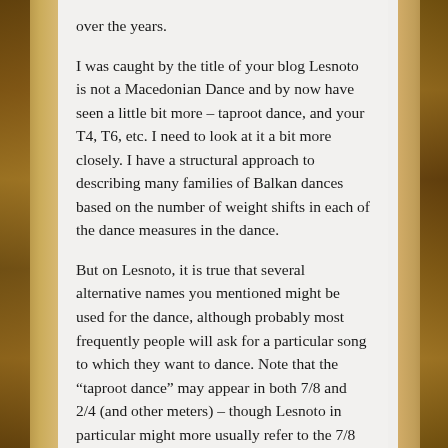over the years.
I was caught by the title of your blog Lesnoto is not a Macedonian Dance and by now have seen a little bit more – taproot dance, and your T4, T6, etc. I need to look at it a bit more closely. I have a structural approach to describing many families of Balkan dances based on the number of weight shifts in each of the dance measures in the dance.
But on Lesnoto, it is true that several alternative names you mentioned might be used for the dance, although probably most frequently people will ask for a particular song to which they want to dance. Note that the "taproot dance" may appear in both 7/8 and 2/4 (and other meters) – though Lesnoto in particular might more usually refer to the 7/8 variant (more on this later). As you mention Dick Crum's comment, Lesnoto –